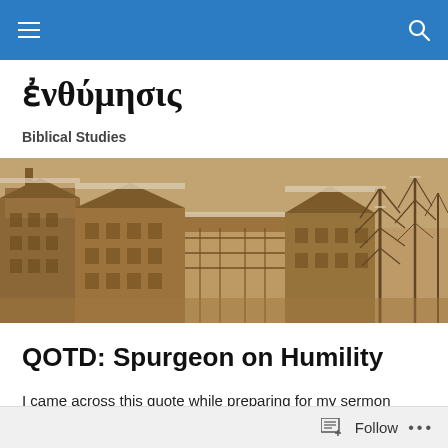Navigation bar with menu and search icons
ἐνθύμησις
Biblical Studies
[Figure (photo): Sepia-toned panoramic photograph of historic European buildings with snow on rooftops and bare trees in winter]
QOTD: Spurgeon on Humility
I came across this quote while preparing for my sermon tonight on Micah 6:1-8.
Follow •••